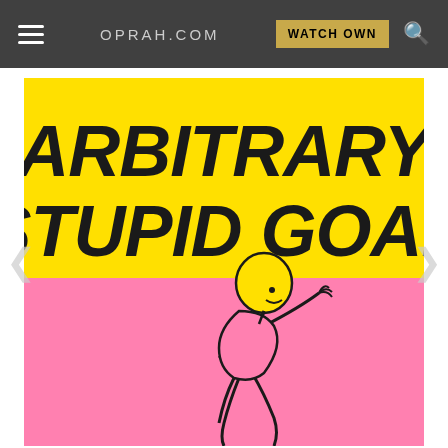OPRAH.COM
[Figure (illustration): Book cover for 'Arbitrary Stupid Goal' showing bold black italic text on a yellow background in the upper half, and a cartoon running figure on a pink background in the lower half. The figure is yellow-headed with a simple face, wearing pink, running with one arm raised.]